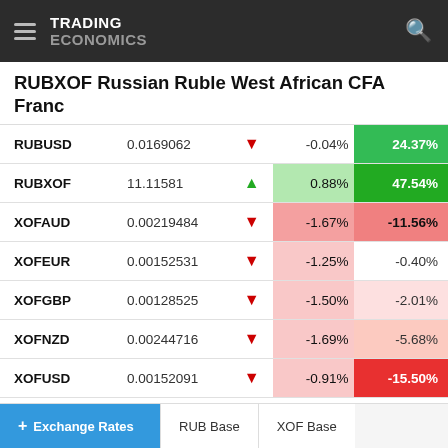TRADING ECONOMICS
RUBXOF Russian Ruble West African CFA Franc
|  |  |  | Day% | Year% |
| --- | --- | --- | --- | --- |
| RUBUSD | 0.0169062 | ▼ | -0.04% | 24.37% |
| RUBXOF | 11.11581 | ▲ | 0.88% | 47.54% |
| XOFAUD | 0.00219484 | ▼ | -1.67% | -11.56% |
| XOFEUR | 0.00152531 | ▼ | -1.25% | -0.40% |
| XOFGBP | 0.00128525 | ▼ | -1.50% | -2.01% |
| XOFNZD | 0.00244716 | ▼ | -1.69% | -5.68% |
| XOFUSD | 0.00152091 | ▼ | -0.91% | -15.50% |